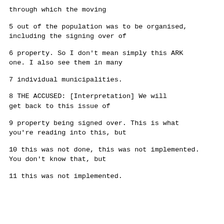through which the moving
5     out of the population was to be organised,
including the signing over of
6     property.  So I don't mean simply this ARK
one.  I also see them in many
7     individual municipalities.
8            THE ACCUSED: [Interpretation] We will
get back to this issue of
9     property being signed over.  This is what
you're reading into this, but
10    this was not done, this was not implemented.
You don't know that, but
11    this was not implemented.